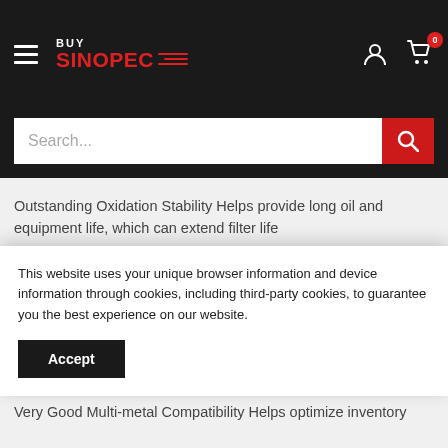[Figure (screenshot): BuySinopec website header with hamburger menu, logo, user icon, and cart icon with badge showing 0]
[Figure (screenshot): Search bar with placeholder text 'Search...' and red search button]
Outstanding Oxidation Stability Helps provide long oil and equipment life, which can extend filter life
Excellent Corrosion Protection Helps prevent internal hydraulic system corrosion
Helps reduce the negative effects of moisture in systems
This website uses your unique browser information and device information through cookies, including third-party cookies, to guarantee you the best experience on our website.
Very Good Multi-metal Compatibility Helps optimize inventory